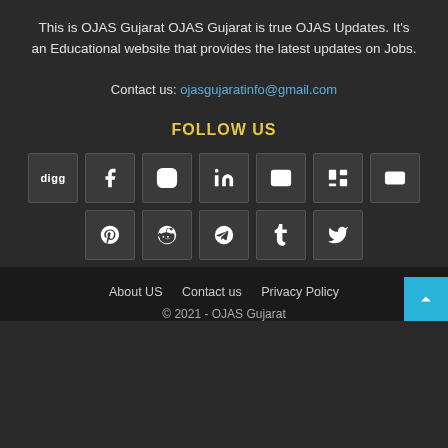This is OJAS Gujarat OJAS Gujarat is true OJAS Updates. It's an Educational website that provides the latest updates on Jobs.
Contact us: ojasgujaratinfo@gmail.com
FOLLOW US
[Figure (other): Row of social media icon buttons: digg, Facebook, Instagram, LinkedIn, email, Mix, keyboard icon]
[Figure (other): Row of social media icon buttons: Pinterest, Reddit, Telegram, Tumblr, Twitter]
About US   Contact us   Privacy Policy
© 2021 - OJAS Gujarat